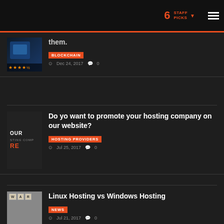6 STAFF PICKS
them.
BLOCKCHAIN
Dec 24, 2017  0
Do yo want to promote your hosting company on our website?
HOSTING PROVIDERS
Jul 25, 2017  0
Linux Hosting vs Windows Hosting
NEWS
Jul 21, 2017  0
PAGE MAP
Homepage